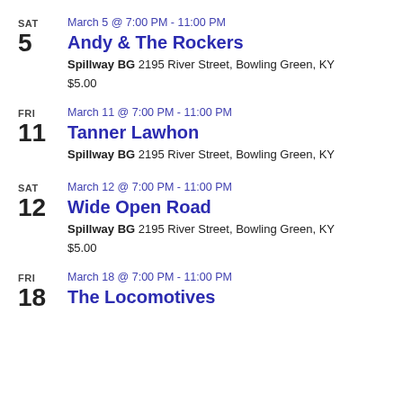SAT 5 | March 5 @ 7:00 PM - 11:00 PM | Andy & The Rockers | Spillway BG 2195 River Street, Bowling Green, KY | $5.00
FRI 11 | March 11 @ 7:00 PM - 11:00 PM | Tanner Lawhon | Spillway BG 2195 River Street, Bowling Green, KY
SAT 12 | March 12 @ 7:00 PM - 11:00 PM | Wide Open Road | Spillway BG 2195 River Street, Bowling Green, KY | $5.00
FRI 18 | March 18 @ 7:00 PM - 11:00 PM | The Locomotives